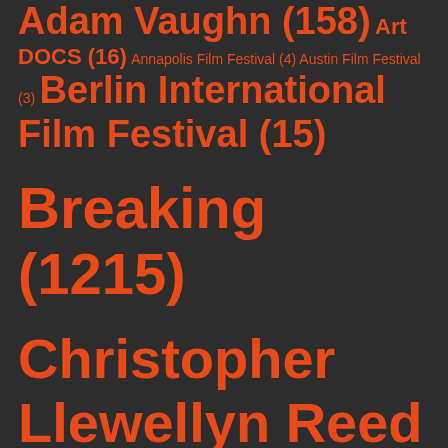Adam Vaughn (158) Art DOCS (16) Annapolis Film Festival (4) Austin Film Festival (3) Berlin International Film Festival (15)
Breaking (1215)
Christopher Llewellyn Reed (1944) DOC NYC (4)
Featured (296) Featured Specialty (355) Festivals (433) FFT Festival